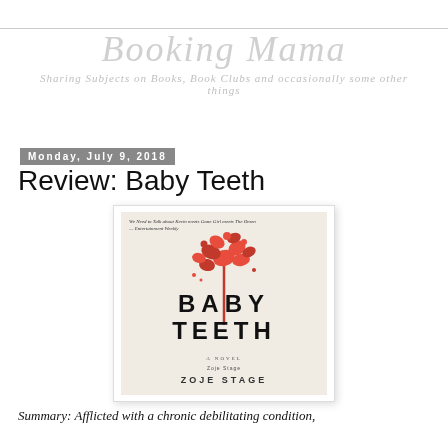Booking Mama
Sharing Subjects on Books, Book Clubs and occasionally some other things
Monday, July 9, 2018
Review: Baby Teeth
[Figure (photo): Book cover of 'Baby Teeth' by Zoje Stage. Beige background with red flower-like shape made of scattered red petals on a thin stem. Title 'BABY TEETH' in bold black uppercase letters. Subtitle 'A NOVEL' and author name 'ZOJE STAGE' at bottom.]
Summary: Afflicted with a chronic debilitating condition,